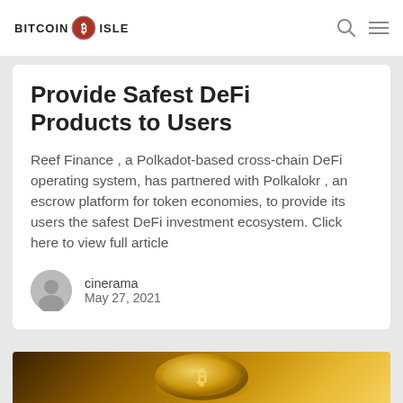BITCOIN ISLE
Provide Safest DeFi Products to Users
Reef Finance , a Polkadot-based cross-chain DeFi operating system, has partnered with Polkalokr , an escrow platform for token economies, to provide its users the safest DeFi investment ecosystem. Click here to view full article
cinerama
May 27, 2021
[Figure (photo): Gold Bitcoin coin close-up photo at bottom of page]